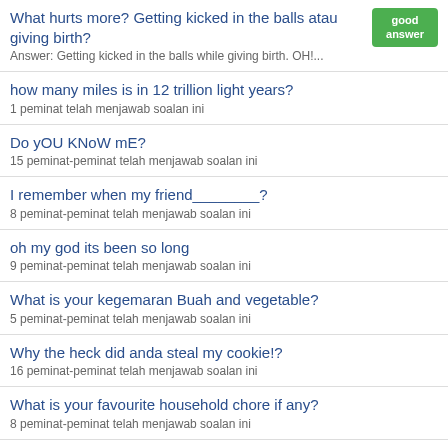What hurts more? Getting kicked in the balls atau giving birth?
Answer: Getting kicked in the balls while giving birth. OH!...
how many miles is in 12 trillion light years?
1 peminat telah menjawab soalan ini
Do yOU KNoW mE?
15 peminat-peminat telah menjawab soalan ini
I remember when my friend________?
8 peminat-peminat telah menjawab soalan ini
oh my god its been so long
9 peminat-peminat telah menjawab soalan ini
What is your kegemaran Buah and vegetable?
5 peminat-peminat telah menjawab soalan ini
Why the heck did anda steal my cookie!?
16 peminat-peminat telah menjawab soalan ini
What is your favourite household chore if any?
8 peminat-peminat telah menjawab soalan ini
What TV character inspires you?
5 peminat-peminat telah menjawab soalan ini
What is your shoe size?